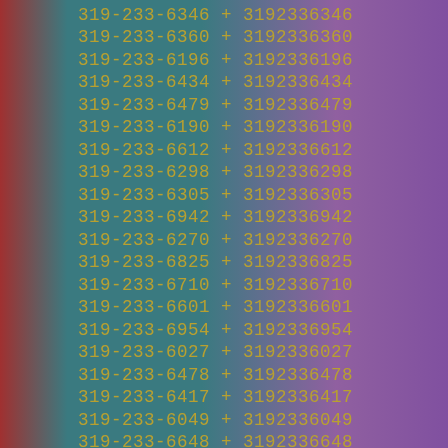319-233-6346 + 3192336346
319-233-6360 + 3192336360
319-233-6196 + 3192336196
319-233-6434 + 3192336434
319-233-6479 + 3192336479
319-233-6190 + 3192336190
319-233-6612 + 3192336612
319-233-6298 + 3192336298
319-233-6305 + 3192336305
319-233-6942 + 3192336942
319-233-6270 + 3192336270
319-233-6825 + 3192336825
319-233-6710 + 3192336710
319-233-6601 + 3192336601
319-233-6954 + 3192336954
319-233-6027 + 3192336027
319-233-6478 + 3192336478
319-233-6417 + 3192336417
319-233-6049 + 3192336049
319-233-6648 + 3192336648
319-233-6656 + 3192336656
319-233-6850 + 3192336850
319-233-6326 + 3192336326